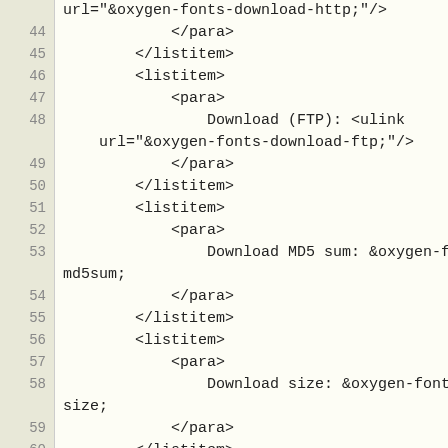url="&oxygen-fonts-download-http;"/>
44    </para>
45    </listitem>
46    <listitem>
47        <para>
48            Download (FTP): <ulink
    url="&oxygen-fonts-download-ftp;"/>
49        </para>
50    </listitem>
51    <listitem>
52        <para>
53            Download MD5 sum: &oxygen-fonts-md5sum;
54        </para>
55    </listitem>
56    <listitem>
57        <para>
58            Download size: &oxygen-fonts-size;
59        </para>
60    </listitem>
61    <listitem>
62        <para>
63        Estimated disk space required: